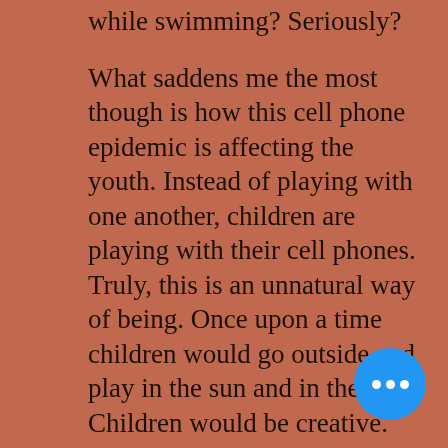while swimming? Seriously?
What saddens me the most though is how this cell phone epidemic is affecting the youth. Instead of playing with one another, children are playing with their cell phones. Truly, this is an unnatural way of being. Once upon a time children would go outside and play in the sun and in the dirt. Children would be creative. They would bond with each other without the distraction of their cell phones. Now children are hooked to their phones just like their parents are. And the age group of children using cell phones appears to be getting younger and younger everyday. are watching us. We are their role
[Figure (other): Blue circular chat bubble button with three white dots in the bottom right corner of the page]